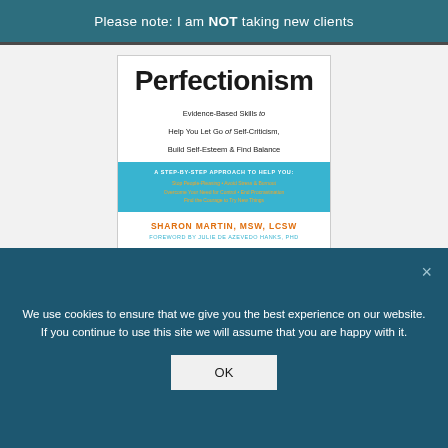Please note: I am NOT taking new clients
[Figure (illustration): Book cover for 'Perfectionism: Evidence-Based Skills to Help You Let Go of Self-Criticism, Build Self-Esteem & Find Balance' by Sharon Martin, MSW, LCSW, foreword by Julie De Azevedo Hanks, PhD. Cover shows a blue band with step-by-step approach bullet points.]
Coming soon!
[Figure (illustration): Partial view of a second book cover with light blue banner reading 'A NEW HARBINGER SELF-HELP WORKBOOK']
We use cookies to ensure that we give you the best experience on our website. If you continue to use this site we will assume that you are happy with it.
OK